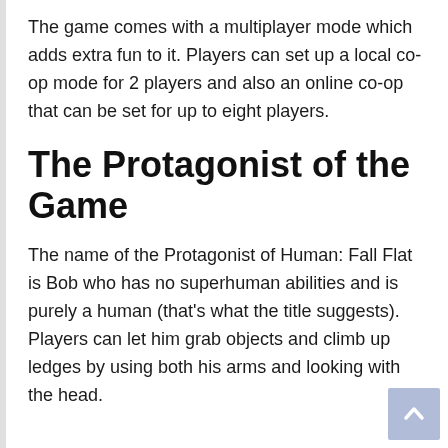The game comes with a multiplayer mode which adds extra fun to it. Players can set up a local co-op mode for 2 players and also an online co-op that can be set for up to eight players.
The Protagonist of the Game
The name of the Protagonist of Human: Fall Flat is Bob who has no superhuman abilities and is purely a human (that’s what the title suggests). Players can let him grab objects and climb up ledges by using both his arms and looking with the head.